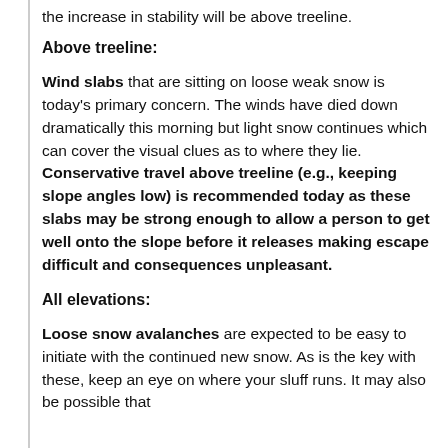the increase in stability will be above treeline.
Above treeline:
Wind slabs that are sitting on loose weak snow is today's primary concern. The winds have died down dramatically this morning but light snow continues which can cover the visual clues as to where they lie. Conservative travel above treeline (e.g., keeping slope angles low) is recommended today as these slabs may be strong enough to allow a person to get well onto the slope before it releases making escape difficult and consequences unpleasant.
All elevations:
Loose snow avalanches are expected to be easy to initiate with the continued new snow. As is the key with these, keep an eye on where your sluff runs. It may also be possible that